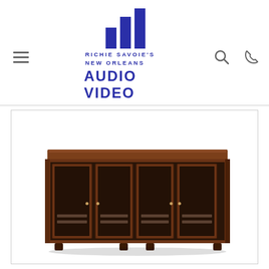[Figure (logo): Richie Savoie's New Orleans Audio Video logo with bar chart icon in navy blue]
[Figure (photo): A dark walnut wood media console/cabinet with four glass-panel doors and small feet, displayed on white background]